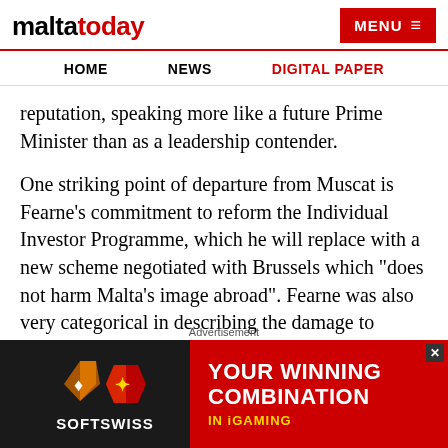maltatoday | MENU
HOME  NEWS  DIGITAL PAPER
reputation, speaking more like a future Prime Minister than as a leadership contender.
One striking point of departure from Muscat is Fearne’s commitment to reform the Individual Investor Programme, which he will replace with a new scheme negotiated with Brussels which “does not harm Malta’s image abroad”. Fearne was also very categorical in describing the damage to Malta’s international reputation as “almost irreparable.”
On his part Abela said that he does not agree with the term “political nightmare” as a description of Malta’s current...
[Figure (screenshot): SOFTSWISS advertisement banner: YOUR WINNING COMBINATION IN iGAMING with logo icons]